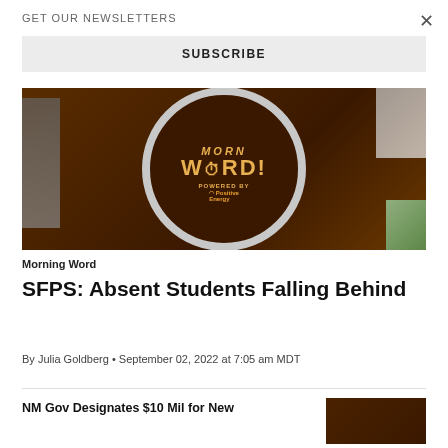GET OUR NEWSLETTERS
×
SUBSCRIBE
[Figure (photo): Morning Word newsletter logo on a brown circular mug/badge with clock alarm icon, text reads MORNING WORD! powered by Positive Energy]
Morning Word
SFPS: Absent Students Falling Behind
By Julia Goldberg • September 02, 2022 at 7:05 am MDT
NM Gov Designates $10 Mil for New